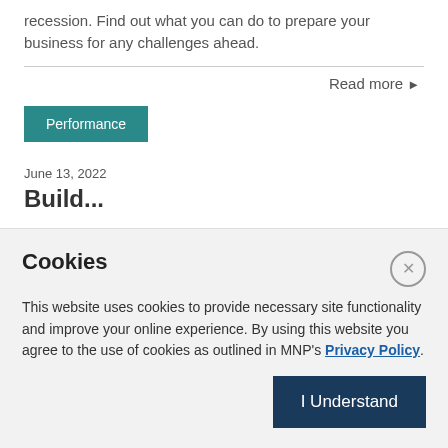recession. Find out what you can do to prepare your business for any challenges ahead.
Read more ▶
Performance
June 13, 2022
Build...
Cookies
This website uses cookies to provide necessary site functionality and improve your online experience. By using this website you agree to the use of cookies as outlined in MNP's Privacy Policy.
I Understand